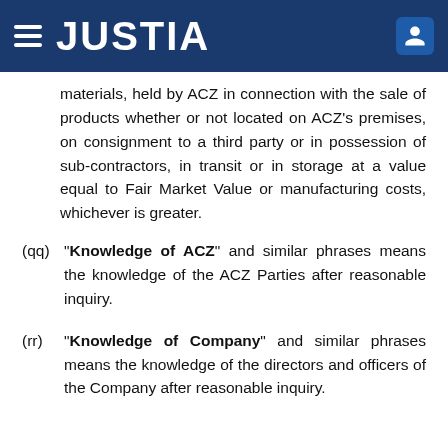JUSTIA
materials, held by ACZ in connection with the sale of products whether or not located on ACZ's premises, on consignment to a third party or in possession of sub-contractors, in transit or in storage at a value equal to Fair Market Value or manufacturing costs, whichever is greater.
(qq) "Knowledge of ACZ" and similar phrases means the knowledge of the ACZ Parties after reasonable inquiry.
(rr) "Knowledge of Company" and similar phrases means the knowledge of the directors and officers of the Company after reasonable inquiry.